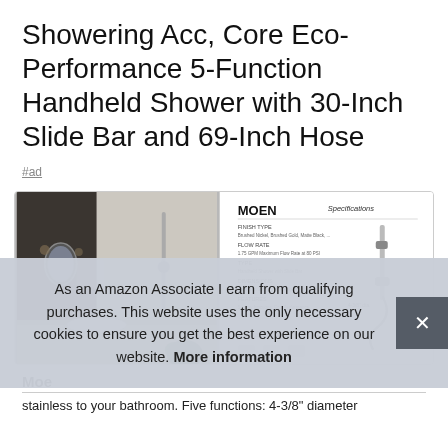Showering Acc, Core Eco-Performance 5-Function Handheld Shower with 30-Inch Slide Bar and 69-Inch Hose
#ad
[Figure (photo): Bathroom scene with handheld shower and slide bar installed, dark tile accent wall, modern vanity with sink and mirror]
[Figure (schematic): MOEN Specifications sheet showing handheld shower unit dimensions, specs text and diagram of the 5-function handheld shower with slide bar and hose]
Moe
stainless to your bathroom. Five functions: 4-3/8" diameter
As an Amazon Associate I earn from qualifying purchases. This website uses the only necessary cookies to ensure you get the best experience on our website. More information